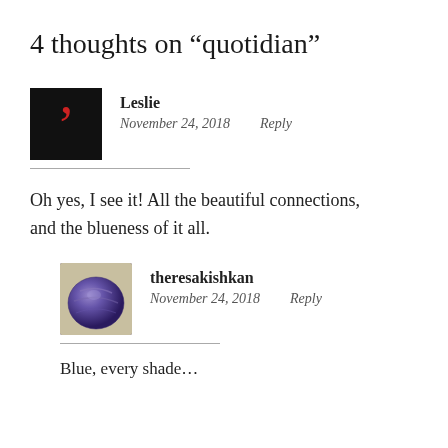4 thoughts on “quotidian”
Leslie
November 24, 2018   Reply
Oh yes, I see it! All the beautiful connections, and the blueness of it all.
theresakishkan
November 24, 2018   Reply
Blue, every shade…